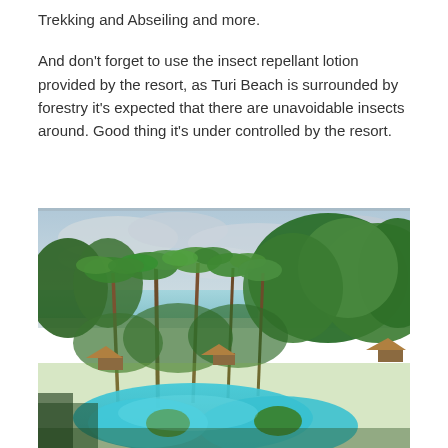Trekking and Abseiling and more.
And don’t forget to use the insect repellant lotion provided by the resort, as Turi Beach is surrounded by forestry it’s expected that there are unavoidable insects around. Good thing it’s under controlled by the resort.
[Figure (photo): Aerial view of Turi Beach Resort showing a large turquoise free-form swimming pool surrounded by tropical palm trees and lush green vegetation, with thatched-roof bungalows and the sea visible in the background under a cloudy sky.]